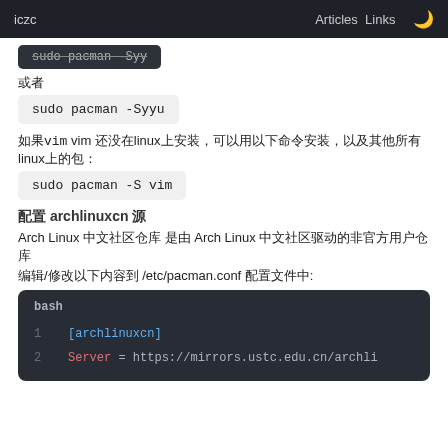iczc   Articles   Links   🌙
sudo pacman -Syy (strikethrough)
或者
sudo pacman -Syyu
如果vim vim 还没linux上安装，可以用以下命令安装：
sudo pacman -S vim
配置 archlinuxcn 源
Arch Linux 中文社区仓库 是由 Arch Linux 中文社区驱动的非官方用户仓库
编辑/修改以下内容到 /etc/pacman.conf 配置文件中:
[Figure (screenshot): Code block showing bash script with [archlinuxcn] and Server = https://mirrors.ustc.edu.cn/archli]